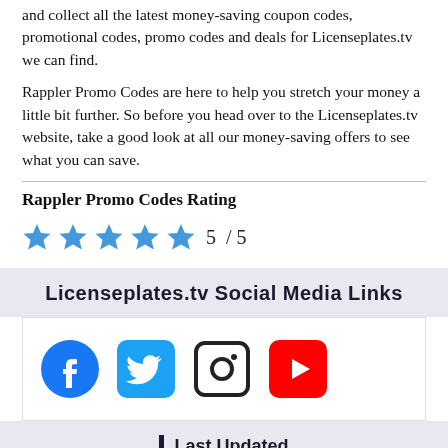and collect all the latest money-saving coupon codes, promotional codes, promo codes and deals for Licenseplates.tv we can find.
Rappler Promo Codes are here to help you stretch your money a little bit further. So before you head over to the Licenseplates.tv website, take a good look at all our money-saving offers to see what you can save.
Rappler Promo Codes Rating
5 / 5
Licenseplates.tv Social Media Links
[Figure (illustration): Social media icons: Facebook, Twitter, Instagram, YouTube]
Last Updated